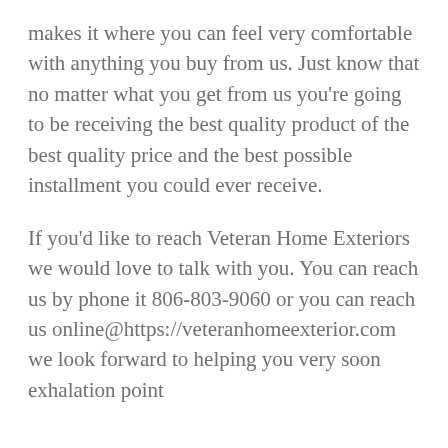makes it where you can feel very comfortable with anything you buy from us. Just know that no matter what you get from us you're going to be receiving the best quality product of the best quality price and the best possible installment you could ever receive.
If you'd like to reach Veteran Home Exteriors we would love to talk with you. You can reach us by phone it 806-803-9060 or you can reach us online@https://veteranhomeexterior.com we look forward to helping you very soon exhalation point